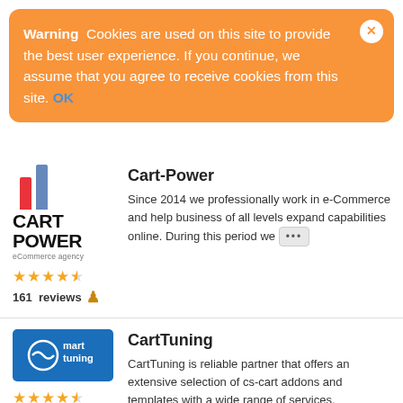Warning  Cookies are used on this site to provide the best user experience. If you continue, we assume that you agree to receive cookies from this site. OK
[Figure (logo): Cart Power eCommerce agency logo with red and blue bars, company name, 4.5 star rating, 161 reviews]
Cart-Power
Since 2014 we professionally work in e-Commerce and help business of all levels expand capabilities online. During this period we ...
[Figure (logo): CartTuning logo - blue rectangle with cart/tuning icon and text, 4.5 star rating, 5 reviews]
CartTuning
CartTuning is reliable partner that offers an extensive selection of cs-cart addons and templates with a wide range of services.
[Figure (logo): Creadev.org logo - green checkbox icon with Creadev text]
Creadev.org